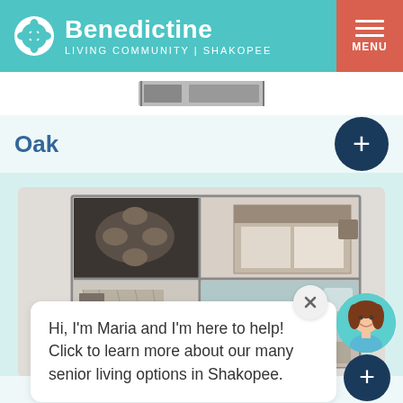Benedictine Living Community | Shakopee — MENU
[Figure (screenshot): Partial floor plan image strip visible at top of content area]
Oak
[Figure (engineering-diagram): 3D rendered apartment floor plan showing bedroom, living area, kitchen, and bathroom from bird's-eye view]
Hi, I'm Maria and I'm here to help! Click to learn more about our many senior living options in Shakopee.